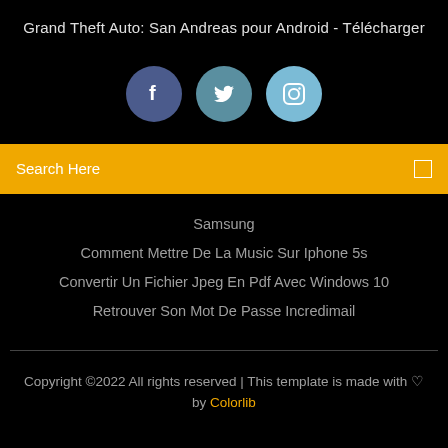Grand Theft Auto: San Andreas pour Android - Télécharger
[Figure (illustration): Three social media icon circles: Facebook (dark blue), Twitter (teal-blue), Instagram (light blue)]
Search Here
Samsung
Comment Mettre De La Music Sur Iphone 5s
Convertir Un Fichier Jpeg En Pdf Avec Windows 10
Retrouver Son Mot De Passe Incredimail
Copyright ©2022 All rights reserved | This template is made with ♡ by Colorlib